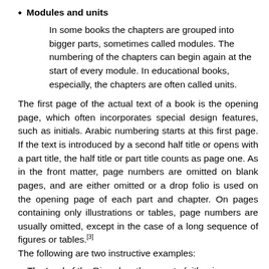Modules and units
In some books the chapters are grouped into bigger parts, sometimes called modules. The numbering of the chapters can begin again at the start of every module. In educational books, especially, the chapters are often called units.
The first page of the actual text of a book is the opening page, which often incorporates special design features, such as initials. Arabic numbering starts at this first page. If the text is introduced by a second half title or opens with a part title, the half title or part title counts as page one. As in the front matter, page numbers are omitted on blank pages, and are either omitted or a drop folio is used on the opening page of each part and chapter. On pages containing only illustrations or tables, page numbers are usually omitted, except in the case of a long sequence of figures or tables.[3] The following are two instructive examples:
The Lord of the Rings has three parts (either in one volume each, or in a single volume), with each part